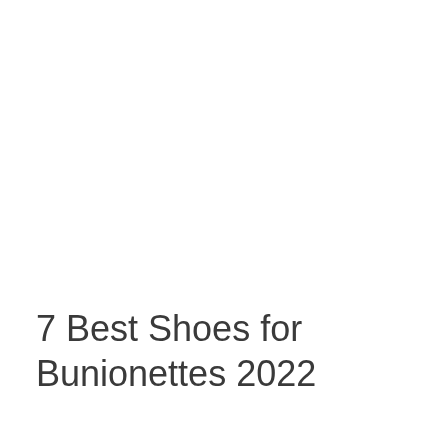7 Best Shoes for Bunionettes 2022